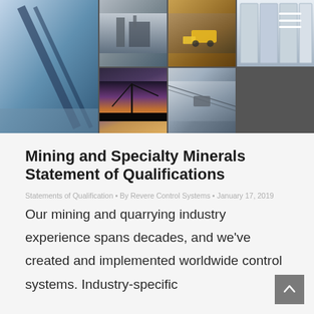[Figure (photo): Collage of seven mining and industrial photos: conveyor belt, material processing plant, yellow loader in quarry, indoor electrical/control room, crane at sunset, cable crane system, interior corridor with yellow-accented doors.]
Mining and Specialty Minerals Statement of Qualifications
Statements of Qualification • By Revere Control Systems • January 17, 2019
Our mining and quarrying industry experience spans decades, and we've created and implemented worldwide control systems. Industry-specific